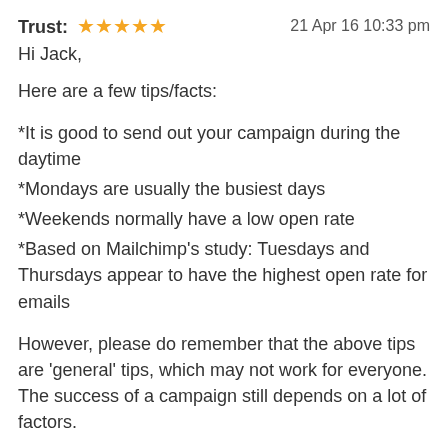Trust: ★★★★★   21 Apr 16 10:33 pm
Hi Jack,
Here are a few tips/facts:
*It is good to send out your campaign during the daytime
*Mondays are usually the busiest days
*Weekends normally have a low open rate
*Based on Mailchimp's study: Tuesdays and Thursdays appear to have the highest open rate for emails
However, please do remember that the above tips are 'general' tips, which may not work for everyone. The success of a campaign still depends on a lot of factors.
What you must remember is to conduct a lot of